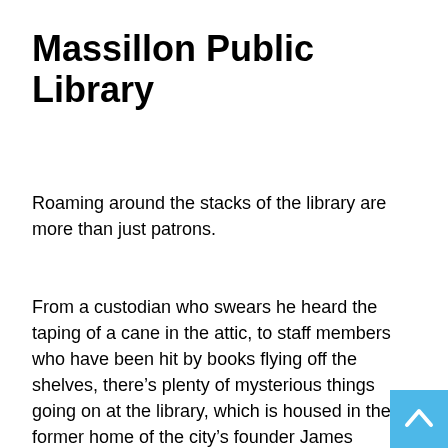Massillon Public Library
Roaming around the stacks of the library are more than just patrons.
From a custodian who swears he heard the taping of a cane in the attic, to staff members who have been hit by books flying off the shelves, there’s plenty of mysterious things going on at the library, which is housed in the former home of the city’s founder James Duncan.
Some have heard footsteps or smelled an unfamiliar perfume. Employees get quite a chill with no explanation in the outreach room, located in the basement of the former home. A patron once claimed to have been pushed by an apparition while in the library and even Director Sherie Brown has her own